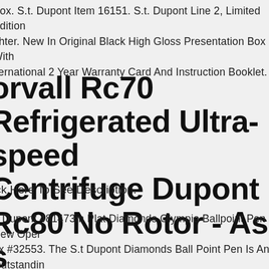Box. S.t. Dupont Item 16151. S.t. Dupont Line 2, Limited Edition ghter. New In Original Black High Gloss Presentation Box With iternational 2 Year Warranty Card And Instruction Booklet.
orvall Rc70 Refrigerated Ultra-speed Centrifuge Dupont Rc80 No Rotor - As s
ick Here To See Description.
T Dupont 481473m Plat Diamonds Olympio Ballpoint Pen New Open ox #32553. The S.t Dupont Diamonds Ball Point Pen Is An Outstandin ork Of Art, Which Has Been Set With 22 Brilliant Cut Diamonds On he Pen Clip . A Pen With Its Own Unique Construction That Is sembled With A , Palladium. The Pen Can Take 2-3 Months To Be anufactured. S.t.dupont Uses Its Exceptional Goldsmithing Know- ow To Create This Pen. Every Inch Of This Pen Is Spectacular. Each n Is Unique Thanks To An Identification Number That Is Engraved